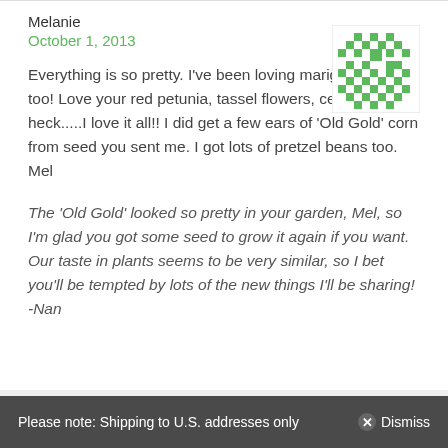Melanie
October 1, 2013
[Figure (illustration): Green pixel/diamond pattern avatar icon]
Everything is so pretty. I've been loving marigolds again too! Love your red petunia, tassel flowers, celosia. Oh heck.....I love it all!! I did get a few ears of 'Old Gold' corn from seed you sent me. I got lots of pretzel beans too.
Mel
The 'Old Gold' looked so pretty in your garden, Mel, so I'm glad you got some seed to grow it again if you want. Our taste in plants seems to be very similar, so I bet you'll be tempted by lots of the new things I'll be sharing!
-Nan
Please note: Shipping to U.S. addresses only  ⊗ Dismiss